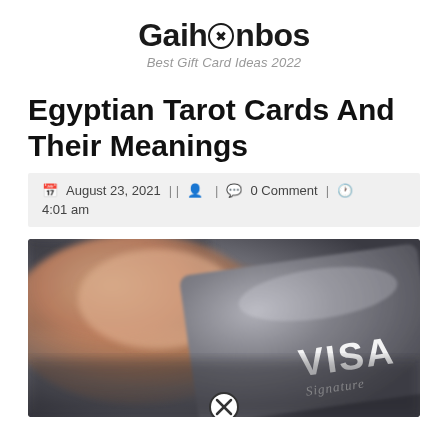Gaihanbos
Best Gift Card Ideas 2022
Egyptian Tarot Cards And Their Meanings
August 23, 2021 | | [user icon] | [comment icon] 0 Comment | [clock icon] 4:01 am
[Figure (photo): Close-up photo of a hand holding a dark grey Visa Signature credit card against a blurred background. The VISA logo and 'Signature' text are visible on the card.]